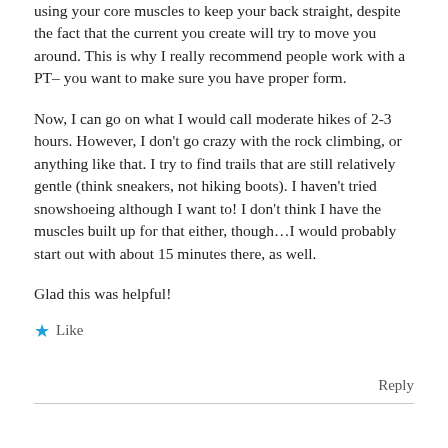using your core muscles to keep your back straight, despite the fact that the current you create will try to move you around. This is why I really recommend people work with a PT– you want to make sure you have proper form.
Now, I can go on what I would call moderate hikes of 2-3 hours. However, I don't go crazy with the rock climbing, or anything like that. I try to find trails that are still relatively gentle (think sneakers, not hiking boots). I haven't tried snowshoeing although I want to! I don't think I have the muscles built up for that either, though…I would probably start out with about 15 minutes there, as well.
Glad this was helpful!
★ Like
Reply